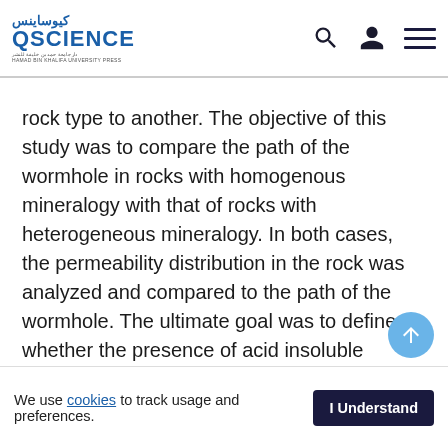QScience - Hamad Bin Khalifa University Press
rock type to another. The objective of this study was to compare the path of the wormhole in rocks with homogenous mineralogy with that of rocks with heterogeneous mineralogy. In both cases, the permeability distribution in the rock was analyzed and compared to the path of the wormhole. The ultimate goal was to define whether the presence of acid insoluble minerals affects the path of the wormhole. Micro-CT scanning at various resolutions was utilized to visualize the pore space connectivity. Thin section analysis of rock samples was used, in combination with micro-CT images, to identify mineralogy at various locations. This was conducted with the support of scanning electron microscope (SEM) analysis. Thin section analysis was conducted for the same rock samples that were scanned and the results were compared so that CT images can be combined.
We use cookies to track usage and preferences. I Understand